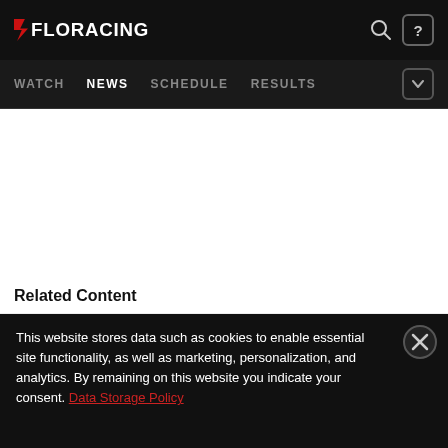FLORACING — WATCH  NEWS  SCHEDULE  RESULTS
Related Content
This website stores data such as cookies to enable essential site functionality, as well as marketing, personalization, and analytics. By remaining on this website you indicate your consent. Data Storage Policy